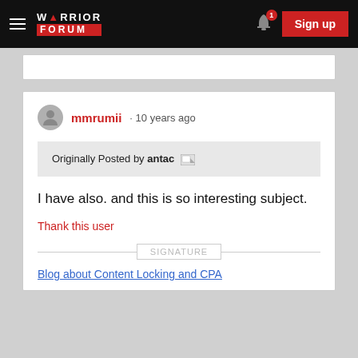Warrior Forum
mmrumii · 10 years ago
Originally Posted by antac
I have also. and this is so interesting subject.
Thank this user
SIGNATURE
Blog about Content Locking and CPA